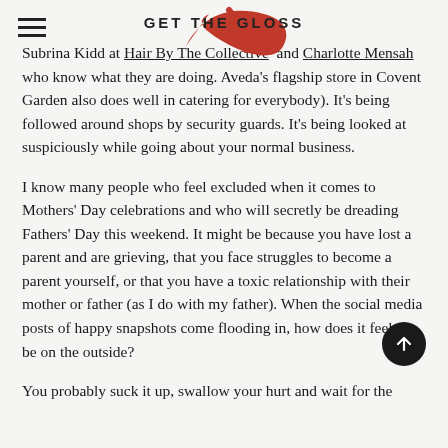GET THE GLOSS
Subrina Kidd at Hair By The Collective and Charlotte Mensah who know what they are doing. Aveda's flagship store in Covent Garden also does well in catering for everybody). It's being followed around shops by security guards. It's being looked at suspiciously while going about your normal business.
I know many people who feel excluded when it comes to Mothers' Day celebrations and who will secretly be dreading Fathers' Day this weekend. It might be because you have lost a parent and are grieving, that you face struggles to become a parent yourself, or that you have a toxic relationship with their mother or father (as I do with my father). When the social media posts of happy snapshots come flooding in, how does it feel to be on the outside?
You probably suck it up, swallow your hurt and wait for the